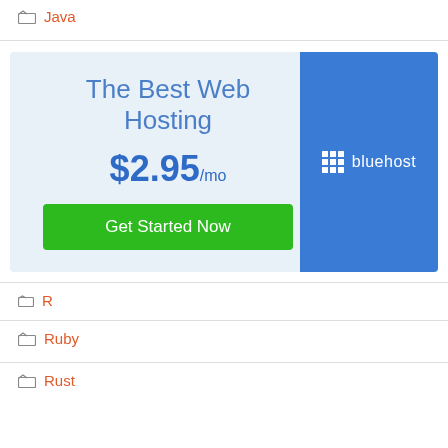Java
[Figure (infographic): Bluehost web hosting advertisement banner. Left side on light blue background: 'The Best Web Hosting' heading, '$2.95/mo' price, 'Get Started Now' green button. Right side: blue panel with Bluehost logo (grid icon and text).]
R
Ruby
Rust